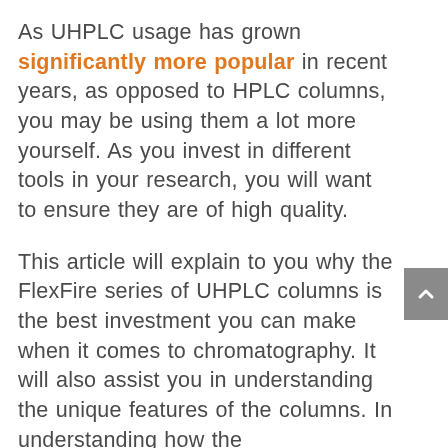As UHPLC usage has grown significantly more popular in recent years, as opposed to HPLC columns, you may be using them a lot more yourself. As you invest in different tools in your research, you will want to ensure they are of high quality.
This article will explain to you why the FlexFire series of UHPLC columns is the best investment you can make when it comes to chromatography. It will also assist you in understanding the unique features of the columns. In understanding how the